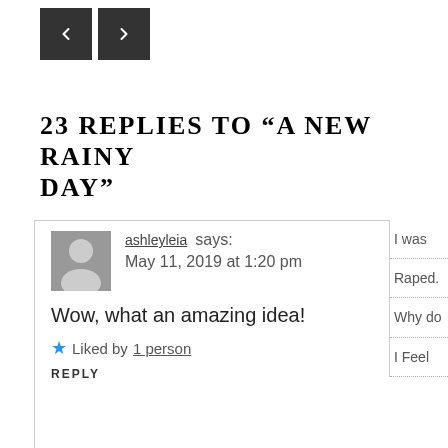[Figure (other): Navigation buttons: left arrow and right arrow, dark gray square buttons]
23 REPLIES TO “A NEW RAINY DAY”
ashleyleia says:
May 11, 2019 at 1:20 pm

Wow, what an amazing idea!

★ Liked by 1 person

REPLY
Revenge of Eve says:
May 11, 2019 at 1:47 pm

You think so? It just popped in my